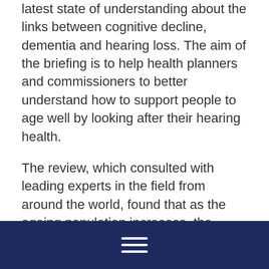latest state of understanding about the links between cognitive decline, dementia and hearing loss. The aim of the briefing is to help health planners and commissioners to better understand how to support people to age well by looking after their hearing health.
The review, which consulted with leading experts in the field from around the world, found that as the ageing population increases, the growing numbers of those with hearing loss, cognitive decline and dementia are leading to urgent public health and social issues. Over 60% of adults living with dementia will also have hearing impairment and over 90% of adults living with dementia in aged care will have hearing impairment.